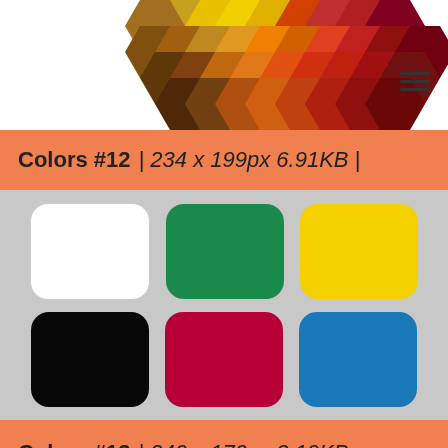[Figure (illustration): Hexagonal color palette at top of page showing warm colors (yellows, oranges, reds, browns) arranged in a decorative mosaic pattern]
Colors #12 | 234 x 199px 6.91KB |
[Figure (illustration): Six color swatches in a 2x3 grid on a light gray background: white, green, yellow (top row); black, dark red/crimson, blue (bottom row). Each swatch has rounded corners.]
Colors #13 | 240 x 170px 3.19KB | Approximations within the sRGB